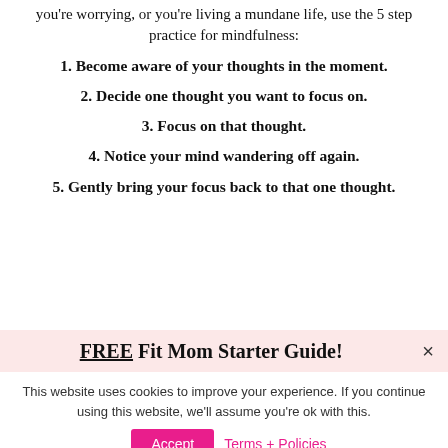you're worrying, or you're living a mundane life, use the 5 step practice for mindfulness:
1. Become aware of your thoughts in the moment.
2. Decide one thought you want to focus on.
3. Focus on that thought.
4. Notice your mind wandering off again.
5. Gently bring your focus back to that one thought.
FREE Fit Mom Starter Guide!
This website uses cookies to improve your experience. If you continue using this website, we'll assume you're ok with this.